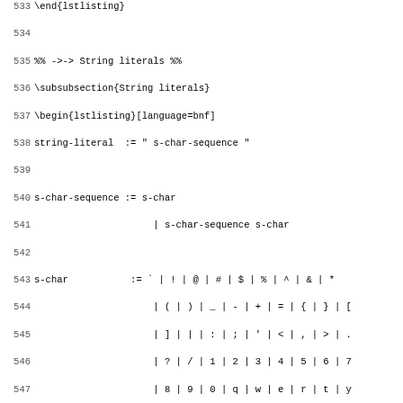533 \end{lstlisting}
534
535 %% ->-> String literals %%
536 \subsubsection{String literals}
537 \begin{lstlisting}[language=bnf]
538 string-literal  := " s-char-sequence "
539
540 s-char-sequence := s-char
541                      | s-char-sequence s-char
542
543 s-char           := ` | ! | @ | # | $ | % | ^ | & | *
544                      | ( | ) | _ | - | + | = | { | } | [
545                      | ] | | | : | ; | ' | < | , | > | .
546                      | ? | / | 1 | 2 | 3 | 4 | 5 | 6 | 7
547                      | 8 | 9 | 0 | q | w | e | r | t | y
548                      | u | i | o | p | a | s | d | f | g
549                      | h | j | k | l | z | x | c | v | b
550                      | n | m | Q | W | E | R | T | Y | U
551                      | I | O | P | A | S | D | F | G | |
552                      | H | J | K | L | Z | X | C | V | B
553                      | N | M
554 \end{lstlisting}
555 \paragraph*{Description}
556 A character string literal is a sequence of zero or mor
557 double-quotes, as in "xyz".
558 \linebreak
559
560 The same considerations apply to each element of the se
561 literal as if it where an integer character constant, e
562 ' is representable either by itself or by the escape se
563 the double-quote " shall be represented by the escape s
564
565 \paragraph*{Something}